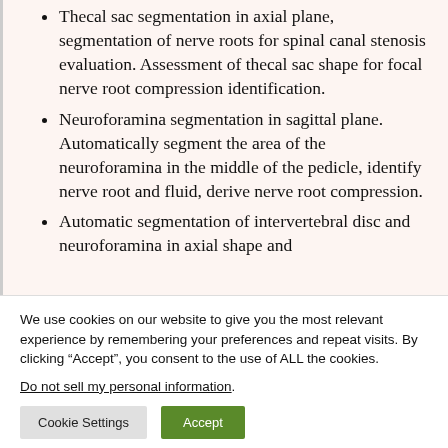Thecal sac segmentation in axial plane, segmentation of nerve roots for spinal canal stenosis evaluation. Assessment of thecal sac shape for focal nerve root compression identification.
Neuroforamina segmentation in sagittal plane. Automatically segment the area of the neuroforamina in the middle of the pedicle, identify nerve root and fluid, derive nerve root compression.
Automatic segmentation of intervertebral disc and neuroforamina in axial shape and
We use cookies on our website to give you the most relevant experience by remembering your preferences and repeat visits. By clicking “Accept”, you consent to the use of ALL the cookies.
Do not sell my personal information.